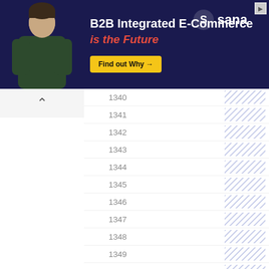[Figure (screenshot): Advertisement banner for Sana B2B Integrated E-Commerce with dark navy background, male figure on left, headline text, and Find out Why button]
| ID | Pattern |
| --- | --- |
| 1340 | //// |
| 1341 | //// |
| 1342 | //// |
| 1343 | //// |
| 1344 | //// |
| 1345 | //// |
| 1346 | //// |
| 1347 | //// |
| 1348 | //// |
| 1349 | //// |
| 1350 | //// |
| 1351 | //// |
| 1352 | //// |
| 1353 | //// |
| 1354 | //// |
| 1355 | //// |
| 1356 | //// |
| 1357 | //// |